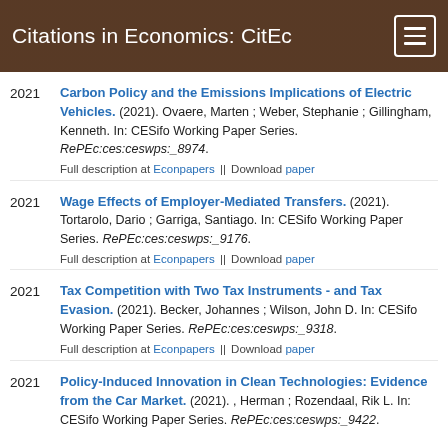Citations in Economics: CitEc
Carbon Policy and the Emissions Implications of Electric Vehicles. (2021). Ovaere, Marten ; Weber, Stephanie ; Gillingham, Kenneth. In: CESifo Working Paper Series. RePEc:ces:ceswps:_8974. Full description at Econpapers || Download paper
Wage Effects of Employer-Mediated Transfers. (2021). Tortarolo, Dario ; Garriga, Santiago. In: CESifo Working Paper Series. RePEc:ces:ceswps:_9176. Full description at Econpapers || Download paper
Tax Competition with Two Tax Instruments - and Tax Evasion. (2021). Becker, Johannes ; Wilson, John D. In: CESifo Working Paper Series. RePEc:ces:ceswps:_9318. Full description at Econpapers || Download paper
Policy-Induced Innovation in Clean Technologies: Evidence from the Car Market. (2021). , Herman ; Rozendaal, Rik L. In: CESifo Working Paper Series. RePEc:ces:ceswps:_9422.